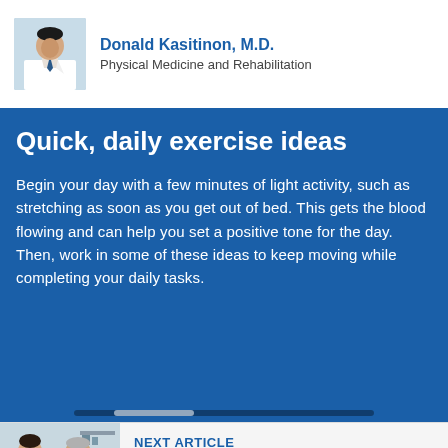[Figure (photo): Headshot photo of Donald Kasitinon, M.D., a male doctor wearing a white coat and tie]
Donald Kasitinon, M.D.
Physical Medicine and Rehabilitation
Quick, daily exercise ideas
Begin your day with a few minutes of light activity, such as stretching as soon as you get out of bed. This gets the blood flowing and can help you set a positive tone for the day. Then, work in some of these ideas to keep moving while completing your daily tasks.
[Figure (photo): Photo of a female doctor or nurse examining an elderly male patient]
NEXT ARTICLE
Tackling the dual challenges of AFib and...